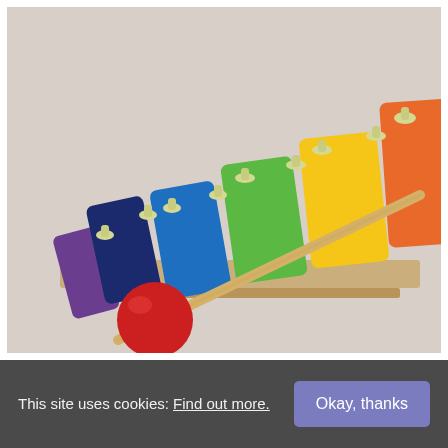[Figure (photo): Close-up photograph of a colorful wooden toy xylophone with rainbow-colored bars (purple, dark blue, blue, green, yellow, orange) and small mushroom-shaped pegs, with a wooden mallet featuring a red ball head resting diagonally across the bars.]
This site uses cookies: Find out more.
Okay, thanks